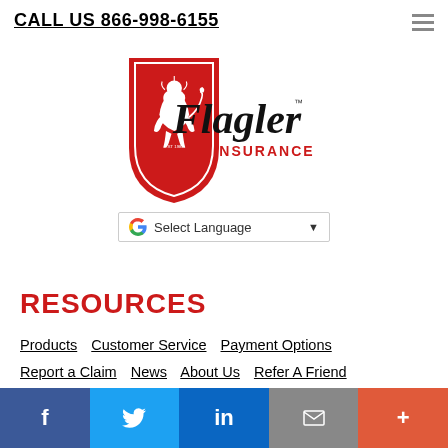CALL US 866-998-6155
[Figure (logo): Flagler Insurance logo: red shield with white lion on left, script 'Flagler' text on right with 'INSURANCE' in red below]
Select Language
RESOURCES
Products  Customer Service  Payment Options  Report a Claim  News  About Us  Refer A Friend  Our Carriers  Blog  Contact Us
CORPORATE OFFICE
f  twitter  in  email  +